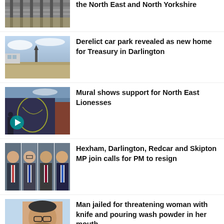the North East and North Yorkshire
[Figure (photo): Railway viaduct or bridge structure with tracks, viewed from below or beside]
Derelict car park revealed as new home for Treasury in Darlington
[Figure (photo): Derelict car park site with church spire in background, Darlington]
Mural shows support for North East Lionesses
[Figure (photo): Mural on building wall showing a woman's face, with play button overlay indicating video content]
Hexham, Darlington, Redcar and Skipton MP join calls for PM to resign
[Figure (photo): Four headshot photos of men in suits, MPs]
Man jailed for threatening woman with knife and pouring wash powder in her mouth
[Figure (photo): Mugshot of a man with glasses against light blue background]